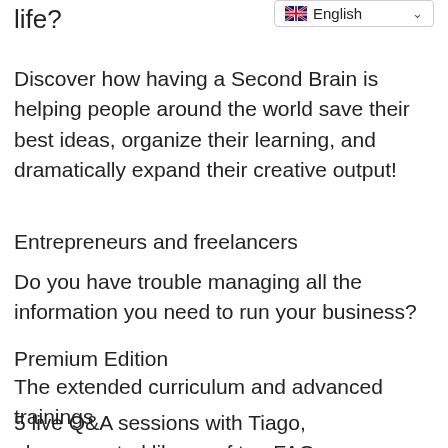life?
[Figure (other): Language selector dropdown showing UK flag and 'English' with a chevron arrow]
Discover how having a Second Brain is helping people around the world save their best ideas, organize their learning, and dramatically expand their creative output!
Entrepreneurs and freelancers
Do you have trouble managing all the information you need to run your business?
Premium Edition
The extended curriculum and advanced trainings
5 live Q&A sessions with Tiago,
plus a curated library of top FAQ answers